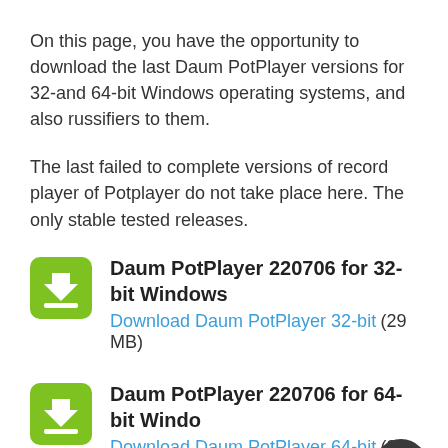On this page, you have the opportunity to download the last Daum PotPlayer versions for 32-and 64-bit Windows operating systems, and also russifiers to them.
The last failed to complete versions of record player of Potplayer do not take place here. The only stable tested releases.
Daum PotPlayer 220706 for 32-bit Windows
Download Daum PotPlayer 32-bit (29 MB)
Daum PotPlayer 220706 for 64-bit Windows
Download Daum PotPlayer 64-bit (30 MB)